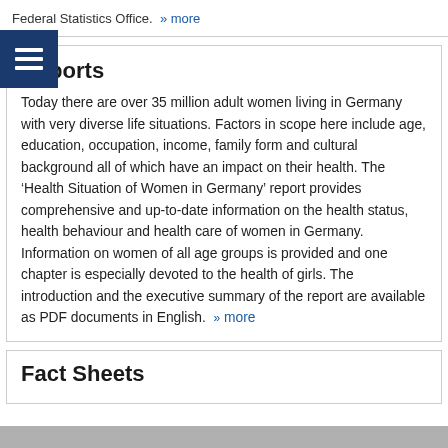Federal Statistics Office.  » more
Reports
Today there are over 35 million adult women living in Germany with very diverse life situations. Factors in scope here include age, education, occupation, income, family form and cultural background all of which have an impact on their health. The 'Health Situation of Women in Germany' report provides comprehensive and up-to-date information on the health status, health behaviour and health care of women in Germany. Information on women of all age groups is provided and one chapter is especially devoted to the health of girls. The introduction and the executive summary of the report are available as PDF documents in English.  » more
Fact Sheets